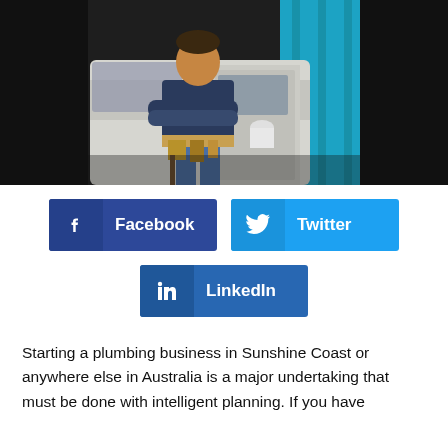[Figure (photo): A plumber or tradesman in a dark blue shirt with arms crossed, wearing a tool belt, standing in front of a white van. A blue corrugated background is visible on the right side.]
[Figure (infographic): Social media share buttons: Facebook (dark blue), Twitter (light blue), and LinkedIn (medium blue), each with an icon and label.]
Starting a plumbing business in Sunshine Coast or anywhere else in Australia is a major undertaking that must be done with intelligent planning. If you have